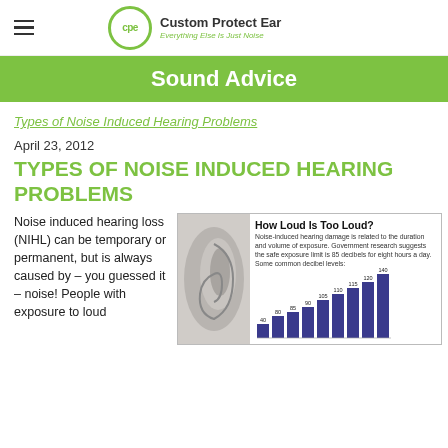Custom Protect Ear — Everything Else Is Just Noise
Sound Advice
Types of Noise Induced Hearing Problems
April 23, 2012
TYPES OF NOISE INDUCED HEARING PROBLEMS
Noise induced hearing loss (NIHL) can be temporary or permanent, but is always caused by – you guessed it – noise! People with exposure to loud
[Figure (infographic): How Loud Is Too Loud? infographic showing an ear image alongside a horizontal bar chart of decibel levels (40, 80, 85, 90, 105, 110, 115, 120, 140). Caption: Noise-induced hearing damage is related to the duration and volume of exposure. Government research suggests the safe exposure limit is 85 decibels for eight hours a day. Some common decibel levels.]